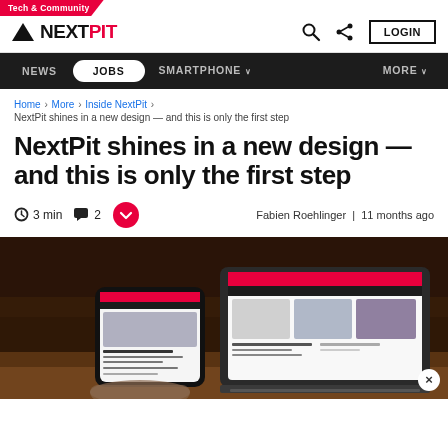Tech & Community
[Figure (logo): NextPit logo with triangle icon]
Home › More › Inside NextPit › NextPit shines in a new design — and this is only the first step
NextPit shines in a new design — and this is only the first step
3 min  2  Fabien Roehlinger | 11 months ago
[Figure (photo): Person holding a smartphone showing the NextPit website, with a laptop in the background also showing the NextPit website redesign, on a wooden table]